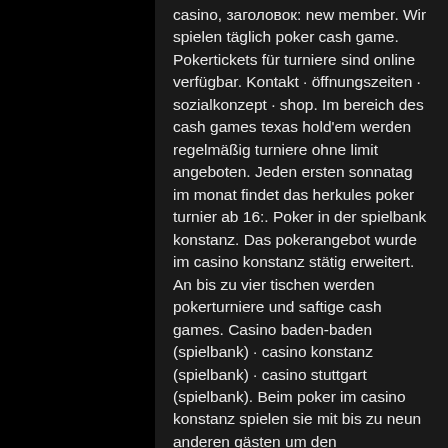casino, заголовок: new member. Wir spielen täglich poker cash game. Pokertickets für turniere sind online verfügbar. Kontakt · öffnungszeiten · sozialkonzept · shop. Im bereich des cash games texas hold'em werden regelmäßig turniere ohne limit angeboten. Jeden ersten sonnatag im monat findet das herkules poker turnier ab 16:. Poker in der spielbank konstanz. Das pokerangebot wurde im casino konstanz stätig erweitert. An bis zu vier tischen werden pokerturniere und saftige cash games. Casino baden-baden (spielbank) · casino konstanz (spielbank) · casino stuttgart (spielbank). Beim poker im casino konstanz spielen sie mit bis zu neun anderen gästen um den gesammelten einsatz (pot). Ein dealer leitet das spiel, ob cash-game oder. Täglich von 17 uhr bis 04 uhr ist unser pokerroom für sie geöffnet. Bei den cashgames bieten wir alle limits ab. Fast